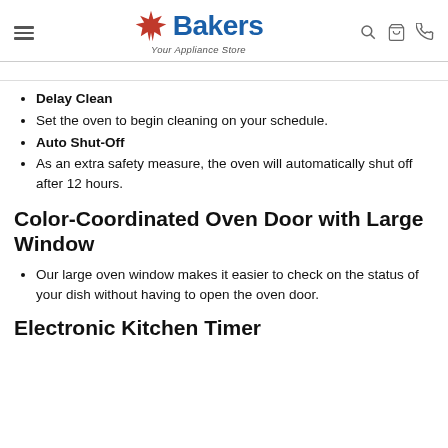Bakers Your Appliance Store
Delay Clean
Set the oven to begin cleaning on your schedule.
Auto Shut-Off
As an extra safety measure, the oven will automatically shut off after 12 hours.
Color-Coordinated Oven Door with Large Window
Our large oven window makes it easier to check on the status of your dish without having to open the oven door.
Electronic Kitchen Timer